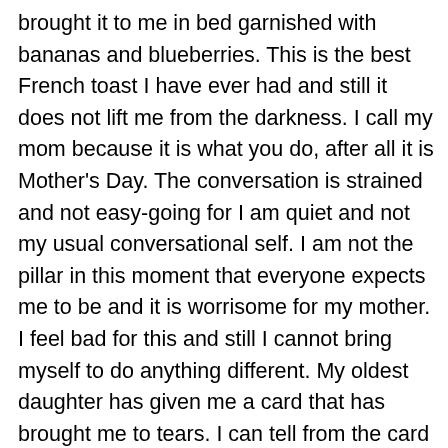brought it to me in bed garnished with bananas and blueberries. This is the best French toast I have ever had and still it does not lift me from the darkness. I call my mom because it is what you do, after all it is Mother's Day. The conversation is strained and not easy-going for I am quiet and not my usual conversational self. I am not the pillar in this moment that everyone expects me to be and it is worrisome for my mother. I feel bad for this and still I cannot bring myself to do anything different. My oldest daughter has given me a card that has brought me to tears. I can tell from the card that she has become acutely aware of this darkness that has invaded me. She tells me, “If I wasn’t here she would be lost and that she knows that I’m going through a tough time, that things will get better and the world will keep moving. Don’t look back.” The tears have been falling from the moment I